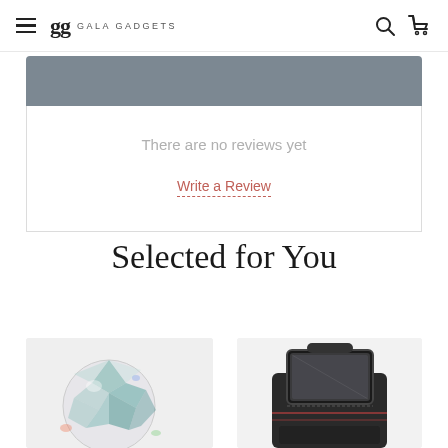gg GALA GADGETS
Reviews ☆☆☆☆☆ (0)
There are no reviews yet
Write a Review
Selected for You
[Figure (photo): Colorful rotating crystal ball disco light]
[Figure (photo): Black bicycle frame bag with phone holder and transparent window]